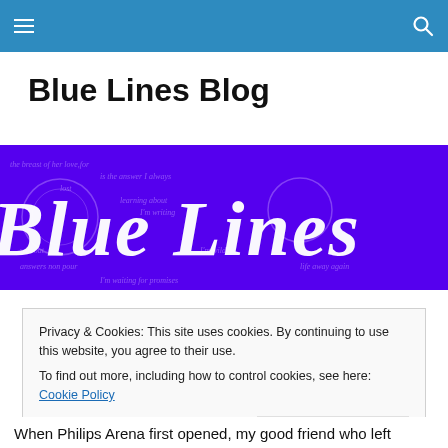Blue Lines Blog — navigation bar with menu and search icons
Blue Lines Blog
[Figure (illustration): Blue Lines Blog banner with purple/blue background and decorative calligraphic 'Blue Lines' text in white gothic script with swirling ornaments and faint italic text overlay]
Privacy & Cookies: This site uses cookies. By continuing to use this website, you agree to their use.
To find out more, including how to control cookies, see here: Cookie Policy
Close and accept
When Philips Arena first opened, my good friend who left